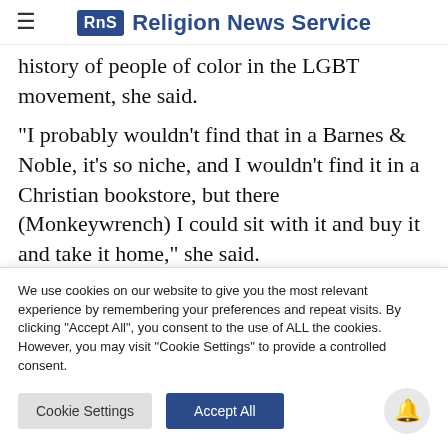RNS Religion News Service
history of people of color in the LGBT movement, she said.
“I probably wouldn’t find that in a Barnes & Noble, it’s so niche, and I wouldn’t find it in a Christian bookstore, but there (Monkeywrench) I could sit with it and buy it and take it home,” she said.
We use cookies on our website to give you the most relevant experience by remembering your preferences and repeat visits. By clicking “Accept All”, you consent to the use of ALL the cookies. However, you may visit "Cookie Settings" to provide a controlled consent.